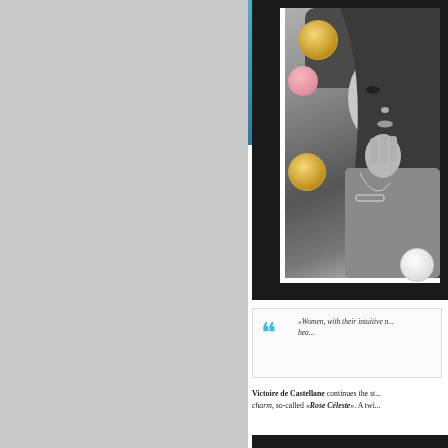[Figure (photo): Black and white fashion photo of a female model wearing jewelry (necklace, bracelet, rings), with colorful jewelry pieces overlaid: gold shell disc earring, pink circle, gold textured disc, white circle. Blue/teal background visible on left side of image.]
«Women, with their intuitive n... bea...
Victoire de Castellane continues the st... charm, so-called «Rose Céleste». A twi...